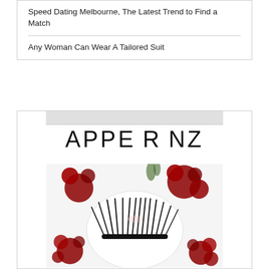Speed Dating Melbourne, The Latest Trend to Find a Match
Any Woman Can Wear A Tailored Suit
[Figure (advertisement): Advertisement for APPESRANZ brand showing logo text and a product image of false eyelashes displayed in a white oval dish surrounded by red carnation flowers on a white background]